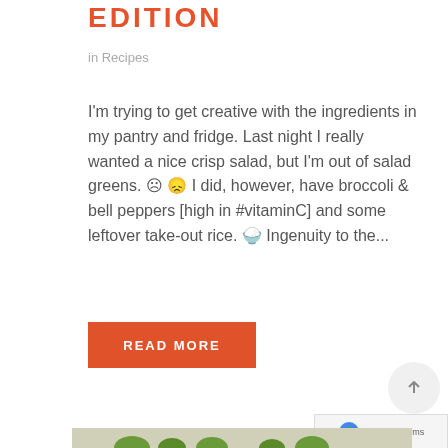EDITION
in Recipes
I'm trying to get creative with the ingredients in my pantry and fridge. Last night I really wanted a nice crisp salad, but I'm out of salad greens. ☹ 😞 I did, however, have broccoli & bell peppers [high in #vitaminC] and some leftover take-out rice. 🍚 Ingenuity to the...
READ MORE
[Figure (photo): Photo of broccoli florets at the bottom of the page]